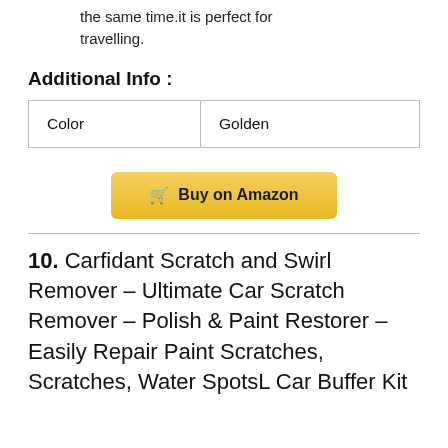the same time.it is perfect for travelling.
Additional Info :
| Color | Golden |
Buy on Amazon
10. Carfidant Scratch and Swirl Remover – Ultimate Car Scratch Remover – Polish & Paint Restorer – Easily Repair Paint Scratches, Scratches, Water SpotsL Car Buffer Kit